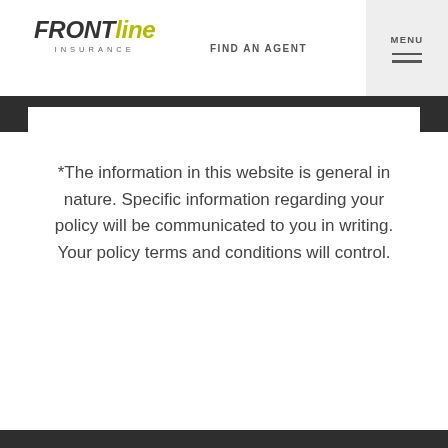FRONT line INSURANCE | FIND AN AGENT | MENU
*The information in this website is general in nature. Specific information regarding your policy will be communicated to you in writing. Your policy terms and conditions will control.